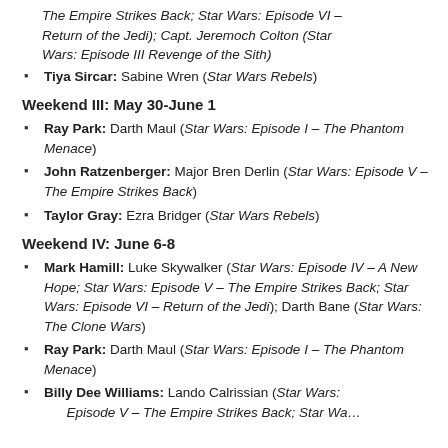The Empire Strikes Back; Star Wars: Episode VI – Return of the Jedi); Capt. Jeremoch Colton (Star Wars: Episode III Revenge of the Sith)
Tiya Sircar: Sabine Wren (Star Wars Rebels)
Weekend III: May 30-June 1
Ray Park: Darth Maul (Star Wars: Episode I – The Phantom Menace)
John Ratzenberger: Major Bren Derlin (Star Wars: Episode V – The Empire Strikes Back)
Taylor Gray: Ezra Bridger (Star Wars Rebels)
Weekend IV: June 6-8
Mark Hamill: Luke Skywalker (Star Wars: Episode IV – A New Hope; Star Wars: Episode V – The Empire Strikes Back; Star Wars: Episode VI – Return of the Jedi); Darth Bane (Star Wars: The Clone Wars)
Ray Park: Darth Maul (Star Wars: Episode I – The Phantom Menace)
Billy Dee Williams: Lando Calrissian (Star Wars: Episode V – The Empire Strikes Back; Star Wars:…